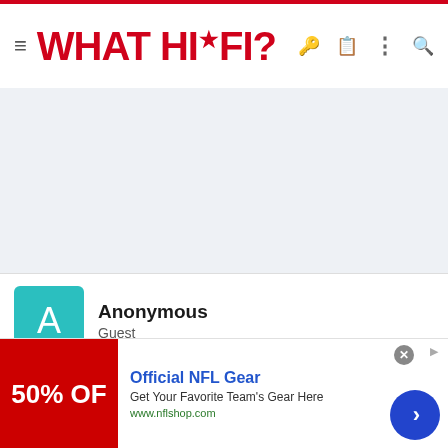WHAT HI-FI?
[Figure (other): Advertisement placeholder area, light blue-grey background]
Anonymous
Guest
Oct 3, 2010  #13
do you think the atlas was very bass heavy? Wheen I tried it, albeit i
[Figure (other): Bottom advertisement banner: Official NFL Gear - Get Your Favorite Team's Gear Here - www.nflshop.com - with red 50% OFF image and blue arrow CTA button]